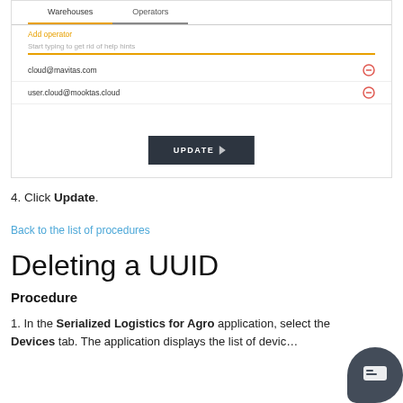[Figure (screenshot): UI screenshot showing Warehouses/Operators tab with operators list (cloud@mavitas.com, user.cloud@mooktas.cloud) and UPDATE button]
4. Click Update.
Back to the list of procedures
Deleting a UUID
Procedure
1. In the Serialized Logistics for Agro application, select the Devices tab. The application displays the list of devic…